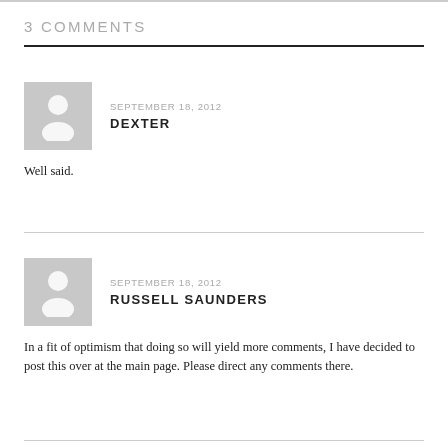3 COMMENTS
SEPTEMBER 18, 2012
DEXTER
Well said.
SEPTEMBER 18, 2012
RUSSELL SAUNDERS
In a fit of optimism that doing so will yield more comments, I have decided to post this over at the main page. Please direct any comments there.